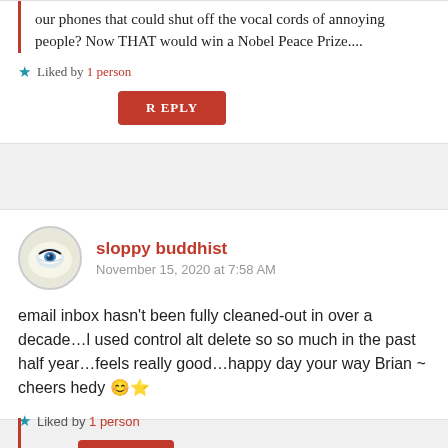our phones that could shut off the vocal cords of annoying people? Now THAT would win a Nobel Peace Prize....
Liked by 1 person
REPLY
sloppy buddhist
November 15, 2020 at 7:58 AM
email inbox hasn’t been fully cleaned-out in over a decade…l used control alt delete so so much in the past half year…feels really good…happy day your way Brian ~ cheers hedy 😊⭐
Liked by 1 person
REPLY